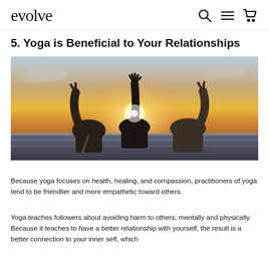evolve
5. Yoga is Beneficial to Your Relationships
[Figure (photo): Three women seen from behind with arms raised in celebration, standing at a railing against a sunset sky.]
Because yoga focuses on health, healing, and compassion, practitioners of yoga tend to be friendlier and more empathetic toward others.
Yoga teaches followers about avoiding harm to others, mentally and physically. Because it teaches to have a better relationship with yourself, the result is a better connection to your inner self, which